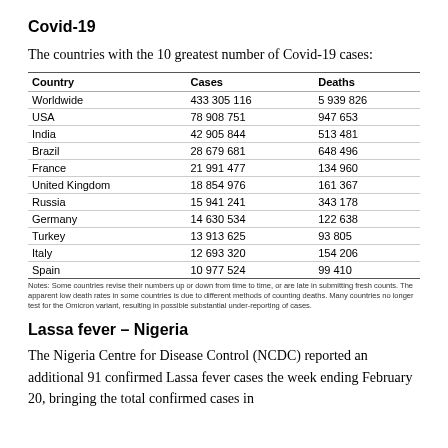Covid-19
The countries with the 10 greatest number of Covid-19 cases:
| Country | Cases | Deaths |
| --- | --- | --- |
| Worldwide | 433 305 116 | 5 939 826 |
| USA | 78 908 751 | 947 653 |
| India | 42 905 844 | 513 481 |
| Brazil | 28 679 681 | 648 496 |
| France | 21 991 477 | 134 960 |
| United Kingdom | 18 854 976 | 161 367 |
| Russia | 15 941 241 | 343 178 |
| Germany | 14 630 534 | 122 638 |
| Turkey | 13 913 625 | 93 805 |
| Italy | 12 693 320 | 154 206 |
| Spain | 10 977 524 | 99 410 |
Notes: Some countries revise their numbers up or down from time to time, or are late in submitting fresh counts. The apparent low death rates in some countries is due to different methods of counting deaths. Many countries no longer test for the Omicron variant, resulting in possible substantial under-reporting of cases.
Lassa fever – Nigeria
The Nigeria Centre for Disease Control (NCDC) reported an additional 91 confirmed Lassa fever cases the week ending February 20, bringing the total confirmed cases in